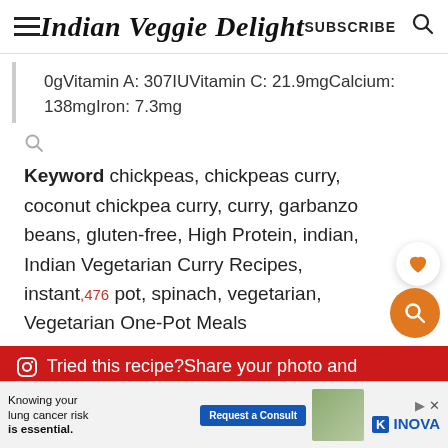Indian Veggie Delight  SUBSCRIBE
0gVitamin A: 307IUVitamin C: 21.9mgCalcium: 138mgIron: 7.3mg
Keyword chickpeas, chickpeas curry, coconut chickpea curry, curry, garbanzo beans, gluten-free, High Protein, indian, Indian Vegetarian Curry Recipes, instant pot, spinach, vegetarian, Vegetarian One-Pot Meals
[Figure (screenshot): Red banner with Instagram icon and text: Tried this recipe?Share your photo and tag]
[Figure (screenshot): Advertisement banner: Knowing your lung cancer risk is essential. Request a Consult. INOVA logo with person photo.]